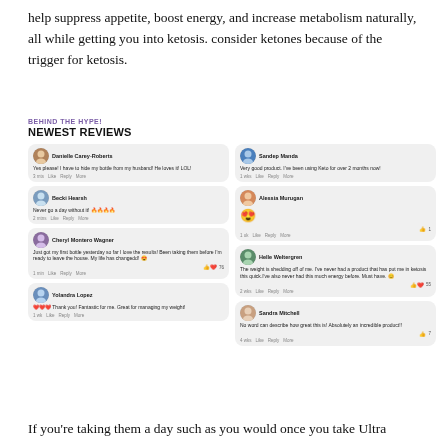help suppress appetite, boost energy, and increase metabolism naturally, all while getting you into ketosis. consider ketones because of the trigger for ketosis.
BEHIND THE HYPE!
NEWEST REVIEWS
[Figure (screenshot): Screenshot of Facebook-style review comments for a keto product, showing 7 reviews from: Danielle Carey-Roberts, Becki Hearsh, Cheryl Montero Wagner, Yolandra Lopez (left column); Sandep Manda, Alessia Murugan, Helle Weltergren, Sandra Mitchell (right column).]
If you’re taking them a day such as you would once you take Ultra